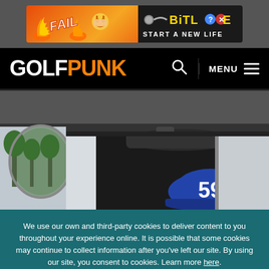[Figure (illustration): Advertisement banner for BitLife game - 'FAIL START A NEW LIFE' with orange/fire themed graphics on left and dark background with BitLife logo on right]
[Figure (logo): GolfPunk website navigation bar with white GOLF and orange PUNK logo, search icon, and MENU hamburger button on black background]
[Figure (photo): Close-up photo of a golf cart or vehicle with a blue cap showing number 59, side mirror visible with green trees reflection]
We use our own and third-party cookies to deliver content to you throughout your experience online. It is possible that some cookies may continue to collect information after you've left our site. By using our site, you consent to cookies. Learn more here.
OK, GOT IT!